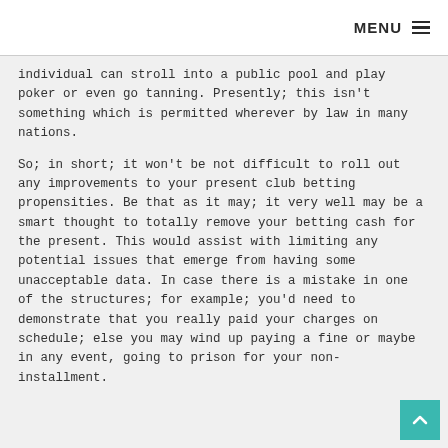MENU ☰
individual can stroll into a public pool and play poker or even go tanning. Presently; this isn't something which is permitted wherever by law in many nations.
So; in short; it won't be not difficult to roll out any improvements to your present club betting propensities. Be that as it may; it very well may be a smart thought to totally remove your betting cash for the present. This would assist with limiting any potential issues that emerge from having some unacceptable data. In case there is a mistake in one of the structures; for example; you'd need to demonstrate that you really paid your charges on schedule; else you may wind up paying a fine or maybe in any event, going to prison for your non-installment.